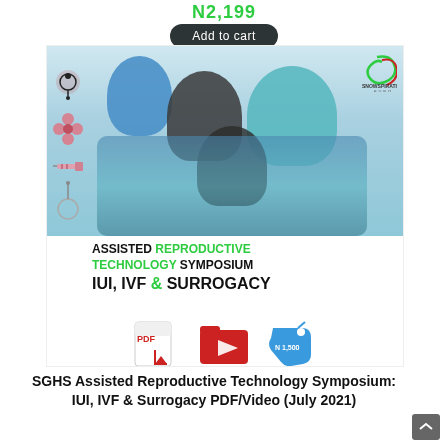N2,199
Add to cart
[Figure (illustration): Promotional image for SGHS Assisted Reproductive Technology Symposium showing a happy African family (father, mother, baby and child), medical icons on the left side, the SnowSpirations Health logo in top right, text reading 'ASSISTED REPRODUCTIVE TECHNOLOGY SYMPOSIUM IUI, IVF & SURROGACY', and bottom icons showing a PDF icon, video folder icon, and a price tag reading N 1,500]
SGHS Assisted Reproductive Technology Symposium: IUI, IVF & Surrogacy PDF/Video (July 2021)